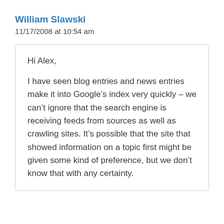William Slawski
11/17/2008 at 10:54 am
Hi Alex,

I have seen blog entries and news entries make it into Google’s index very quickly – we can’t ignore that the search engine is receiving feeds from sources as well as crawling sites. It’s possible that the site that showed information on a topic first might be given some kind of preference, but we don’t know that with any certainty.